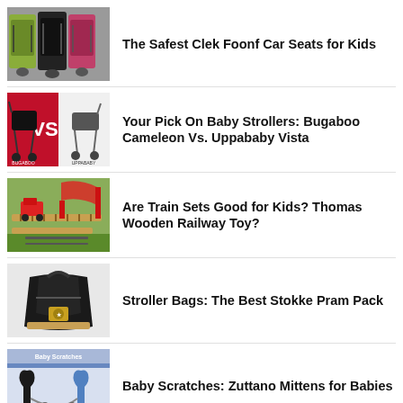[Figure (photo): Three car seats in green, black, and pink side by side]
The Safest Clek Foonf Car Seats for Kids
[Figure (photo): Bugaboo Cameleon vs Uppababy Vista strollers on red background]
Your Pick On Baby Strollers: Bugaboo Cameleon Vs. Uppababy Vista
[Figure (photo): Thomas wooden railway toy train set laid out on floor]
Are Train Sets Good for Kids? Thomas Wooden Railway Toy?
[Figure (photo): Black Stokke pram bag/travel pack]
Stroller Bags: The Best Stokke Pram Pack
[Figure (photo): Baby Scratches Zuttano mittens for babies, black and blue mittens]
Baby Scratches: Zuttano Mittens for Babies